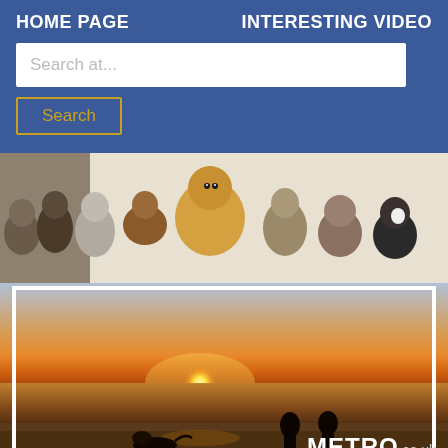HOME PAGE    INTERESTING VIDEO
Search at...
Search
[Figure (photo): Banner image showing a row of various puppies and kittens against a white background]
[Figure (photo): Two people walking a dog on a beach at sunset with METRO.co.uk logo watermark]